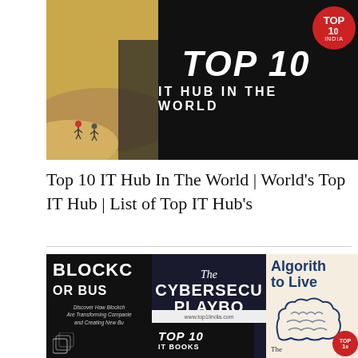[Figure (screenshot): Top 10 IT Hub In The World banner image with dark background, bold white text 'TOP 10 IT HUB IN THE WORLD', red badge with 'TOP10 INDIA', and sandy beach scene on left]
Top 10 IT Hub In The World | World's Top IT Hub | List of Top IT Hub's
[Figure (photo): Collage of three book covers: Blockchain for Business (dark), The Cybersecurity Playbook (dark), and Algorithms to Live By (light/cream), with overlay showing 'TOP 10 IT BOOKS' banner and www.top1lindia.com URL]